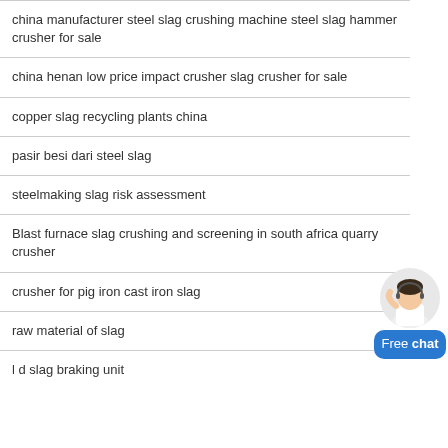china manufacturer steel slag crushing machine steel slag hammer crusher for sale
china henan low price impact crusher slag crusher for sale
copper slag recycling plants china
pasir besi dari steel slag
steelmaking slag risk assessment
Blast furnace slag crushing and screening in south africa quarry crusher
crusher for pig iron cast iron slag
raw material of slag
l d slag braking unit